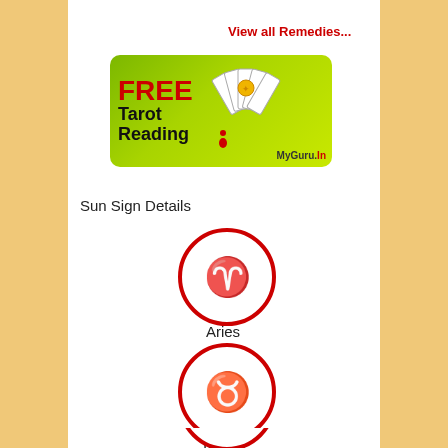View all Remedies...
[Figure (illustration): FREE Tarot Reading banner with fan of tarot cards and MyGuru.in logo on green gradient background]
Sun Sign Details
[Figure (illustration): Aries zodiac symbol — ram inside red circle]
Aries
[Figure (illustration): Taurus zodiac symbol — bull inside red circle]
Taurus
[Figure (illustration): Third zodiac symbol partially visible — inside red circle at bottom of page]